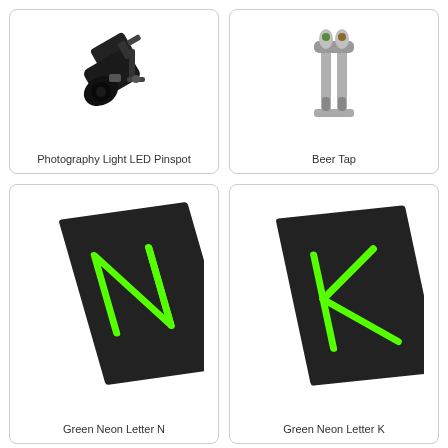[Figure (photo): Photography Light LED Pinspot - black spotlight camera-mounted LED light]
Photography Light LED Pinspot
[Figure (photo): Beer Tap - silver metallic beer tap dispenser with multiple taps]
Beer Tap
[Figure (photo): Green Neon Letter N - neon green letter N on dark black panel tilted at angle]
Green Neon Letter N
[Figure (photo): Green Neon Letter K - neon green letter K on dark black panel tilted at angle]
Green Neon Letter K
[Figure (photo): Partial view of neon sign on dark panel - bottom row left card, partially visible]
[Figure (photo): Partial view of metallic object - bottom row right card, partially visible]